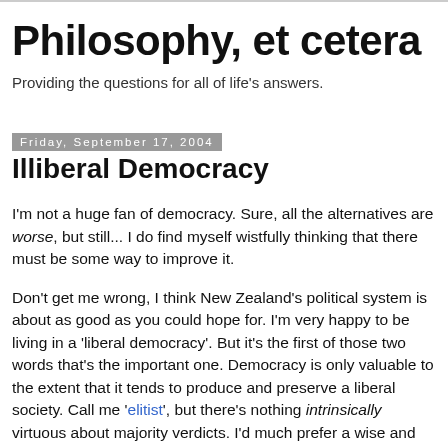Philosophy, et cetera
Providing the questions for all of life's answers.
Friday, September 17, 2004
Illiberal Democracy
I'm not a huge fan of democracy. Sure, all the alternatives are worse, but still... I do find myself wistfully thinking that there must be some way to improve it.
Don't get me wrong, I think New Zealand's political system is about as good as you could hope for. I'm very happy to be living in a 'liberal democracy'. But it's the first of those two words that's the important one. Democracy is only valuable to the extent that it tends to produce and preserve a liberal society. Call me 'elitist', but there's nothing intrinsically virtuous about majority verdicts. I'd much prefer a wise and benevolent dictator (were such a creature ever to exist) to